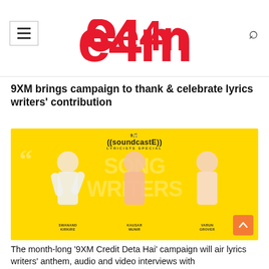e4m
9XM brings campaign to thank & celebrate lyrics writers' contribution
[Figure (photo): Yellow promotional banner for 9XM soundcastE Lyricists Special featuring three lyricists: Swanand Kirkire, Kausar Munir, and Varun Grover against a bright yellow background with large text 'SONG WRITERS']
The month-long '9XM Credit Deta Hai' campaign will air lyrics writers' anthem, audio and video interviews with